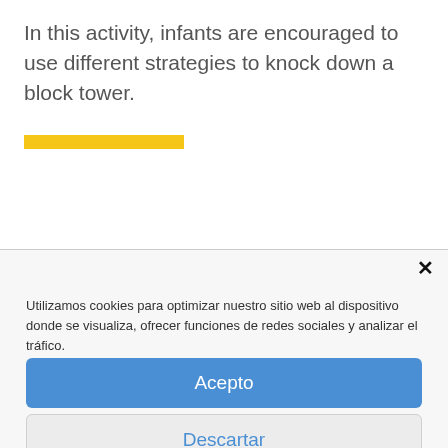In this activity, infants are encouraged to use different strategies to knock down a block tower.
Utilizamos cookies para optimizar nuestro sitio web al dispositivo donde se visualiza, ofrecer funciones de redes sociales y analizar el tráfico.

Puede cambiar la configuración en las preferencias o visitar nuestra Política de cookies.
Acepto
Descartar
Política de cookies